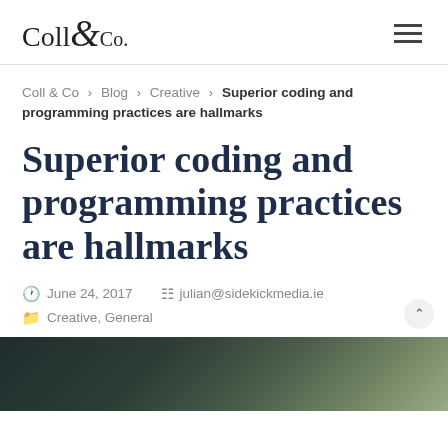Coll & Co
Coll & Co › Blog › Creative › Superior coding and programming practices are hallmarks
Superior coding and programming practices are hallmarks
June 24, 2017   julian@sidekickmedia.ie
Creative, General
[Figure (photo): Partial view of a dark-toned image, appears to be a blog post header photo with dark greens and teal tones]